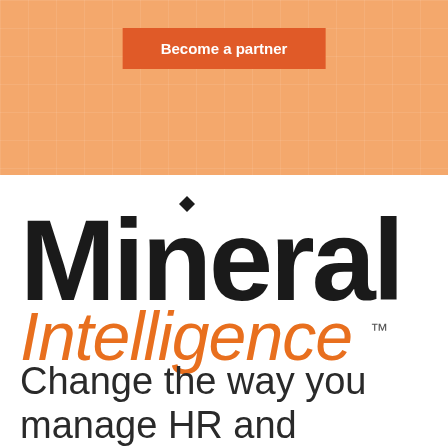[Figure (other): Orange salmon-colored banner background with subtle grid pattern]
Become a partner
[Figure (logo): Mineral Intelligence logo — 'Mineral' in large bold black sans-serif with a diamond shape above the 'i', 'Intelligence' in orange italic below, with TM mark]
Change the way you manage HR and